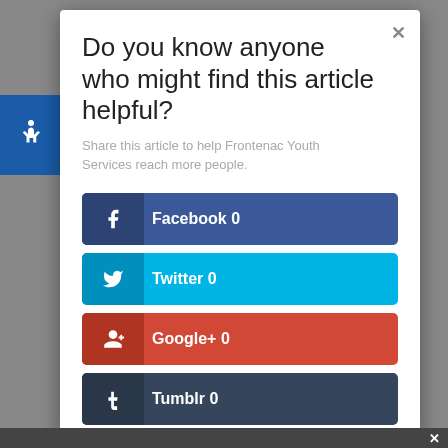Do you know anyone who might find this article helpful?
Share this article to help Frontenac Youth Services reach more people.
Facebook  0
Twitter  0
Google+  0
Tumblr  0
Like  0